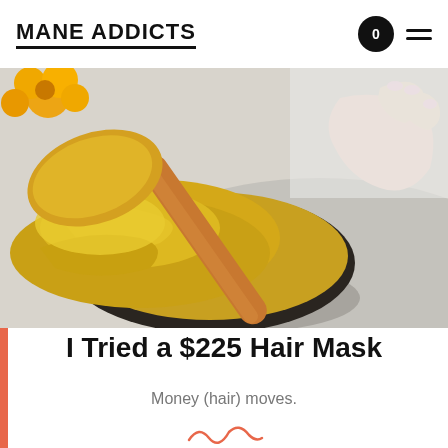MANE ADDICTS
[Figure (photo): Close-up photo of a golden/yellow creamy hair mask in a dark container being stirred with a wooden spatula held by a hand with light pink nails. Yellow flowers visible in the top left corner. White/grey background.]
I Tried a $225 Hair Mask
Money (hair) moves.